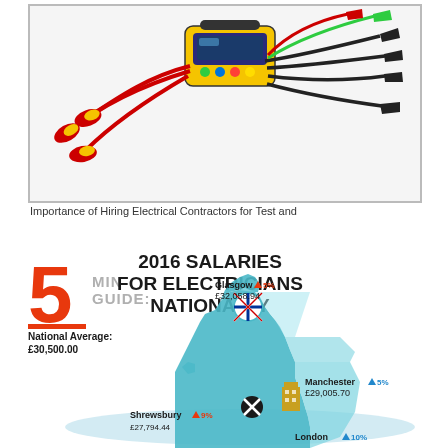[Figure (photo): Electrical testing equipment — a multifunction tester/meter with multiple red and black clamp probes and test leads arranged around it on a white background]
Importance of Hiring Electrical Contractors for Test and
[Figure (infographic): 5 Min Guide: 2016 Salaries for Electricians Nationally. Infographic showing a map of the UK with salary data by city. National Average: £30,500.00. Glasgow ▲5% £32,058.94. Manchester ▼5% £29,005.70. Shrewsbury ▼9% £27,794.44. London ▼10%.]